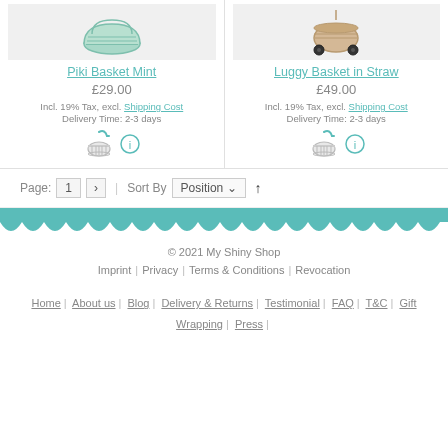[Figure (photo): Product listing showing Piki Basket Mint (left) and Luggy Basket in Straw (right) with product images, prices, tax info, delivery time, and basket/info icons]
Piki Basket Mint
£29.00
Incl. 19% Tax, excl. Shipping Cost
Delivery Time: 2-3 days
Luggy Basket in Straw
£49.00
Incl. 19% Tax, excl. Shipping Cost
Delivery Time: 2-3 days
Page: 1 > | Sort By Position ↑
© 2021 My Shiny Shop
Imprint | Privacy | Terms & Conditions | Revocation
Home | About us | Blog | Delivery & Returns | Testimonial | FAQ | T&C | Gift Wrapping | Press |